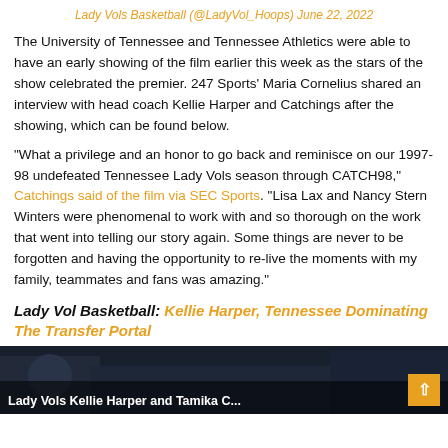Lady Vols Basketball (@LadyVol_Hoops) June 22, 2022
The University of Tennessee and Tennessee Athletics were able to have an early showing of the film earlier this week as the stars of the show celebrated the premier. 247 Sports' Maria Cornelius shared an interview with head coach Kellie Harper and Catchings after the showing, which can be found below.
“What a privilege and an honor to go back and reminisce on our 1997-98 undefeated Tennessee Lady Vols season through CATCH98,” Catchings said of the film via SEC Sports. “Lisa Lax and Nancy Stern Winters were phenomenal to work with and so thorough on the work that went into telling our story again. Some things are never to be forgotten and having the opportunity to re-live the moments with my family, teammates and fans was amazing.”
Lady Vol Basketball: Kellie Harper, Tennessee Dominating The Transfer Portal
[Figure (photo): Dark video thumbnail showing Lady Vols Kellie Harper and Tamika C. with overlay caption text at the bottom and an orange scroll-up button in the bottom right corner.]